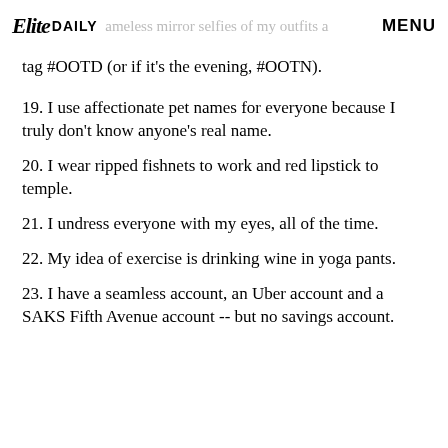Elite DAILY ... seamless mirror selfies of my outfits a MENU
tag #OOTD (or if it's the evening, #OOTN).
19. I use affectionate pet names for everyone because I truly don't know anyone's real name.
20. I wear ripped fishnets to work and red lipstick to temple.
21. I undress everyone with my eyes, all of the time.
22. My idea of exercise is drinking wine in yoga pants.
23. I have a seamless account, an Uber account and a SAKS Fifth Avenue account -- but no savings account.